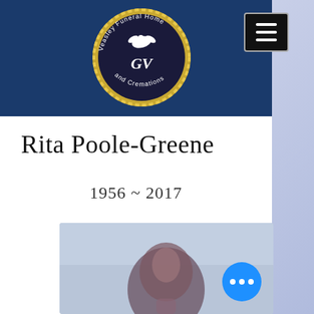[Figure (logo): Veasley Funeral Home and Cremations circular logo with gold rope border, dark navy background, white dove, and 'GV' monogram]
Rita Poole-Greene
1956 ~ 2017
[Figure (photo): Blurred portrait photo of Rita Poole-Greene against a light blue background]